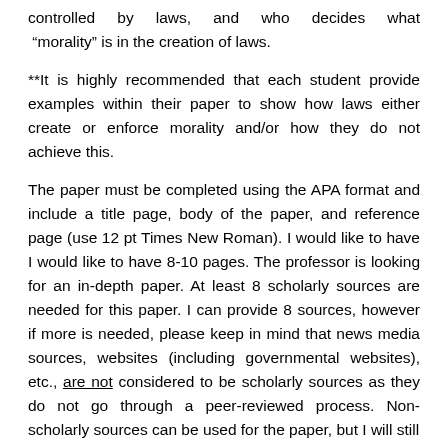controlled by laws, and who decides what “morality” is in the creation of laws.
**It is highly recommended that each student provide examples within their paper to show how laws either create or enforce morality and/or how they do not achieve this.
The paper must be completed using the APA format and include a title page, body of the paper, and reference page (use 12 pt Times New Roman). I would like to have I would like to have 8-10 pages. The professor is looking for an in-depth paper. At least 8 scholarly sources are needed for this paper. I can provide 8 sources, however if more is needed, please keep in mind that news media sources, websites (including governmental websites), etc., are not considered to be scholarly sources as they do not go through a peer-reviewed process. Non-scholarly sources can be used for the paper, but I will still